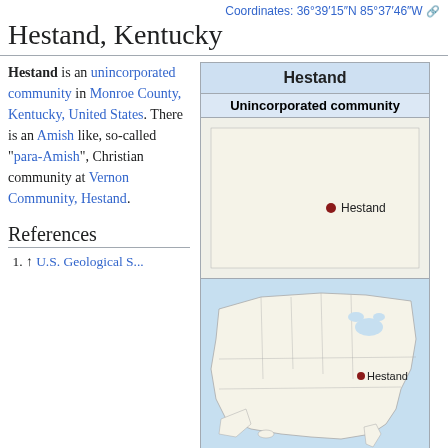Coordinates: 36°39′15″N 85°37′46″W
Hestand, Kentucky
Hestand is an unincorporated community in Monroe County, Kentucky, United States. There is an Amish like, so-called "para-Amish", Christian community at Vernon Community, Hestand.
References
1. ↑ U.S. Geological S...
| Hestand | Unincorporated community |
| --- | --- |